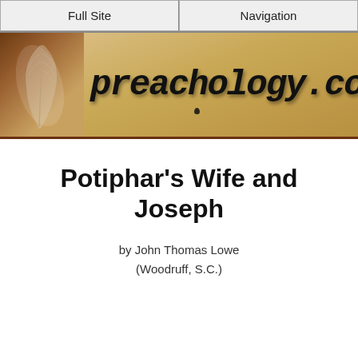Full Site | Navigation
[Figure (illustration): Banner image for preachology.com showing a quill feather on the left against a warm brown/tan parchment background with the site name 'preachology.com' written in large dark handwritten-style font]
Potiphar's Wife and Joseph
by John Thomas Lowe
(Woodruff, S.C.)